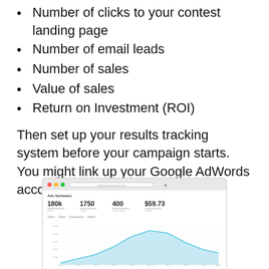Number of clicks to your contest landing page
Number of email leads
Number of sales
Value of sales
Return on Investment (ROI)
Then set up your results tracking system before your campaign starts. You might link up your Google AdWords account to your Google Analytics.
[Figure (screenshot): Screenshot of a Google AdWords Ads Summary dashboard showing metrics: 180k impressions, 1750 clicks, 400 conversions, $59.73 spend, with an area chart below showing performance over time.]